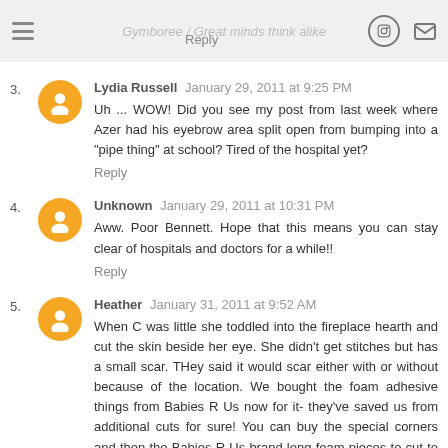Gymboree / Great minds think alike
3. Lydia Russell  January 29, 2011 at 9:25 PM
Uh ... WOW! Did you see my post from last week where Azer had his eyebrow area split open from bumping into a "pipe thing" at school? Tired of the hospital yet?
Reply
4. Unknown  January 29, 2011 at 10:31 PM
Aww. Poor Bennett. Hope that this means you can stay clear of hospitals and doctors for a while!!
Reply
5. Heather  January 31, 2011 at 9:52 AM
When C was little she toddled into the fireplace hearth and cut the skin beside her eye. She didn't get stitches but has a small scar. THey said it would scar either with or without because of the location. We bought the foam adhesive things from Babies R Us now for it- they've saved us from additional cuts for sure! You can buy the special corners and then the Babies R Us brand long foam pieces to cut to fit the straight-a-ways!
Reply